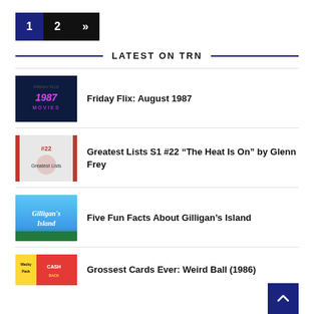1  2  »
LATEST ON TRN
[Figure (photo): Dark blue background with neon text '1987 MOVIES']
Friday Flix: August 1987
[Figure (photo): Red and white graphic with '#22' and a figure, Greatest Lists S1 #22]
Greatest Lists S1 #22 “The Heat Is On” by Glenn Frey
[Figure (photo): Blue sky background with Gilligan's Island logo text]
Five Fun Facts About Gilligan’s Island
[Figure (photo): Colorful card pack with Wacky Packages style lettering, Grossest Cards]
Grossest Cards Ever: Weird Ball (1986)